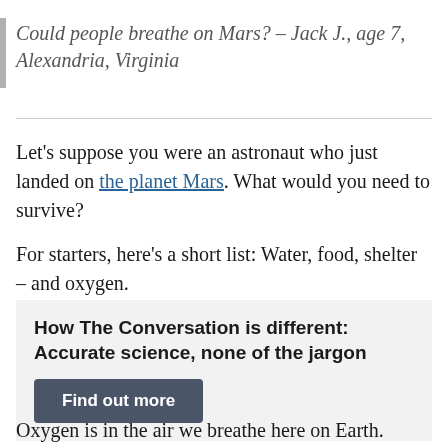Could people breathe on Mars? – Jack J., age 7, Alexandria, Virginia
Let's suppose you were an astronaut who just landed on the planet Mars. What would you need to survive?
For starters, here's a short list: Water, food, shelter – and oxygen.
How The Conversation is different: Accurate science, none of the jargon
Find out more
Oxygen is in the air we breathe here on Earth.